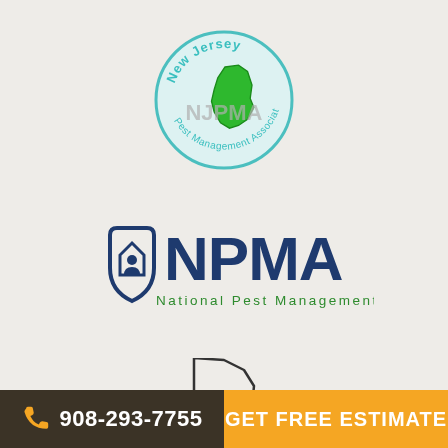[Figure (logo): NJPMA New Jersey Pest Management Association circular logo with teal border, green NJ state map silhouette, and 'NJPMA' text in center]
[Figure (logo): NPMA National Pest Management Association logo with dark blue shield/house icon and bold 'NPMA' text, subtitle 'National Pest Management Association' in green]
[Figure (illustration): Outline silhouette of New Jersey state map in black stroke]
908-293-7755
GET FREE ESTIMATE